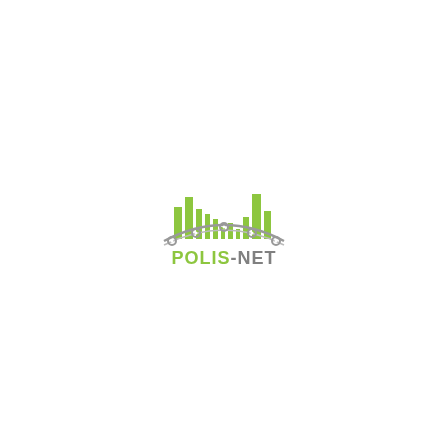[Figure (logo): POLIS-NET logo: green bar chart cityscape with grey arc and dots beneath, with text POLIS-NET where POLIS is in green and -NET is in grey]